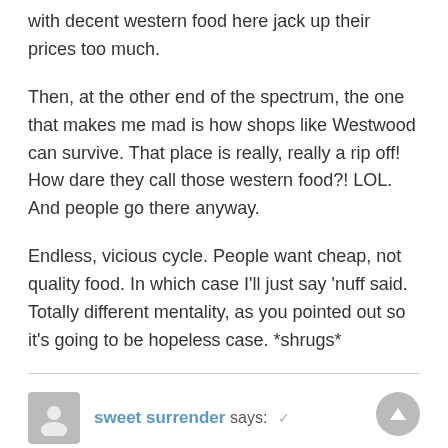with decent western food here jack up their prices too much.
Then, at the other end of the spectrum, the one that makes me mad is how shops like Westwood can survive. That place is really, really a rip off! How dare they call those western food?! LOL. And people go there anyway.
Endless, vicious cycle. People want cheap, not quality food. In which case I'll just say ‘nuff said. Totally different mentality, as you pointed out so it's going to be hopeless case. *shrugs*
sweet surrender says: ✓  July 3, 2010 at 8:11 pm